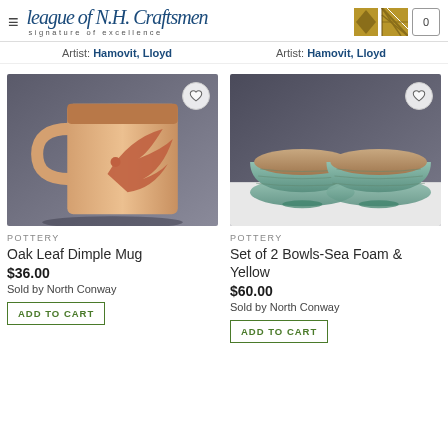League of N.H. Craftsmen – signature of excellence
Artist: Hamovit, Lloyd    Artist: Hamovit, Lloyd
[Figure (photo): Ceramic oak leaf dimple mug with terracotta leaf design on cream/peach glaze background]
POTTERY
Oak Leaf Dimple Mug
$36.00
Sold by North Conway
ADD TO CART
[Figure (photo): Set of two ceramic bowls with seafoam/teal exterior glaze and warm terracotta interior]
POTTERY
Set of 2 Bowls-Sea Foam & Yellow
$60.00
Sold by North Conway
ADD TO CART